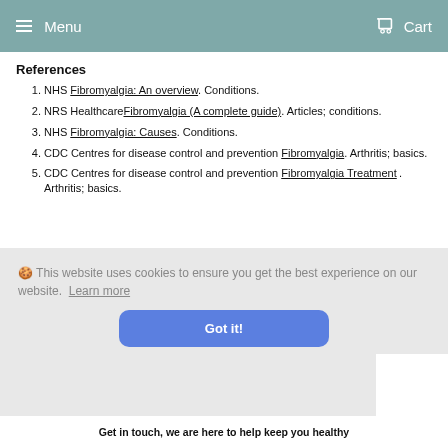Menu   Cart
References
NHS Fibromyalgia: An overview. Conditions.
NRS Healthcare Fibromyalgia (A complete guide). Articles; conditions.
NHS Fibromyalgia: Causes. Conditions.
CDC Centres for disease control and prevention Fibromyalgia. Arthritis; basics.
CDC Centres for disease control and prevention Fibromyalgia Treatment. Arthritis; basics.
🍪 This website uses cookies to ensure you get the best experience on our website. Learn more
Got it!
Get in touch, we are here to help keep you healthy